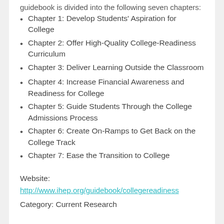guidebook is divided into the following seven chapters:
Chapter 1: Develop Students' Aspiration for College
Chapter 2: Offer High-Quality College-Readiness Curriculum
Chapter 3: Deliver Learning Outside the Classroom
Chapter 4: Increase Financial Awareness and Readiness for College
Chapter 5: Guide Students Through the College Admissions Process
Chapter 6: Create On-Ramps to Get Back on the College Track
Chapter 7: Ease the Transition to College
Website: http://www.ihep.org/guidebook/collegereadiness
Category: Current Research